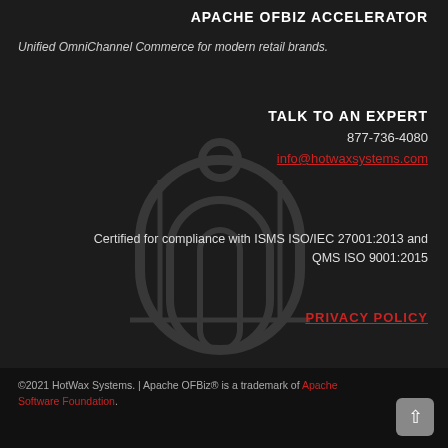APACHE OFBIZ ACCELERATOR
Unified OmniChannel Commerce for modern retail brands.
TALK TO AN EXPERT
877-736-4080
info@hotwaxsystems.com
Certified for compliance with ISMS ISO/IEC 27001:2013 and QMS ISO 9001:2015
PRIVACY POLICY
©2021 HotWax Systems. | Apache OFBiz® is a trademark of Apache Software Foundation.